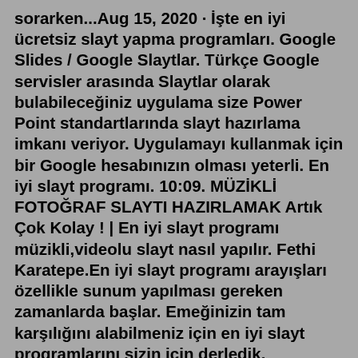sorarken...Aug 15, 2020 · İşte en iyi ücretsiz slayt yapma programları. Google Slides / Google Slaytlar. Türkçe Google servisler arasında Slaytlar olarak bulabileceğiniz uygulama size Power Point standartlarında slayt hazırlama imkanı veriyor. Uygulamayı kullanmak için bir Google hesabınızın olması yeterli. En iyi slayt programı. 10:09. MÜZİKLİ FOTOĞRAF SLAYTI HAZIRLAMAK Artık Çok Kolay ! | En iyi slayt programı müzikli,videolu slayt nasıl yapılır. Fethi Karatepe.En iyi slayt programı arayışları özellikle sunum yapılması gereken zamanlarda başlar. Emeğinizin tam karşılığını alabilmeniz için en iyi slayt programlarını sizin için derledik. Ezvid.Mar 26, 2019 · Magix PhotoStory Deluxe Edition'ı edinmek için buraya tıklayın. PowerPoint 2016. PowerPoint 2016 , MS Office paketinin slayt gösterisi yazılımıdır, bu nedenle Windows 10 için pazar lideri sunum uygulamalarından biridir. Bu uygulama, göz alıcı fotoğraf slayt gösterileri oluşturmak için ihtiyaç duyulan özelliklerin yanı sıra... Eğitici içerikler